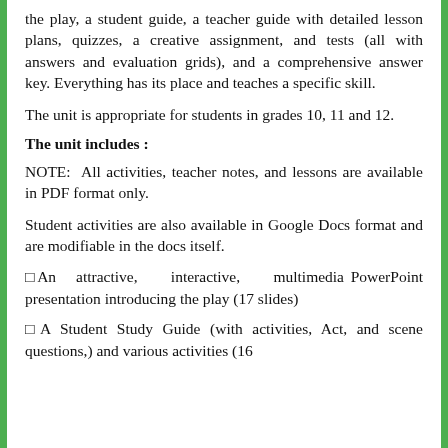the play, a student guide, a teacher guide with detailed lesson plans, quizzes, a creative assignment, and tests (all with answers and evaluation grids), and a comprehensive answer key. Everything has its place and teaches a specific skill.
The unit is appropriate for students in grades 10, 11 and 12.
The unit includes :
NOTE: All activities, teacher notes, and lessons are available in PDF format only.
Student activities are also available in Google Docs format and are modifiable in the docs itself.
□An attractive, interactive, multimedia PowerPoint presentation introducing the play (17 slides)
□A Student Study Guide (with activities, Act, and scene questions,) and various activities (16...